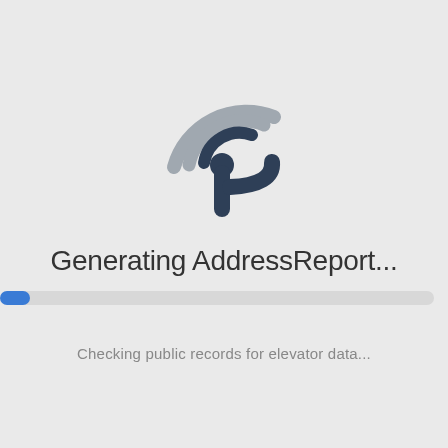[Figure (logo): A circular radar/signal icon with concentric arcs on the upper-left and a vertical stem with a curved hook on the right, rendered in dark navy and gray tones]
Generating AddressReport...
Checking public records for elevator data...